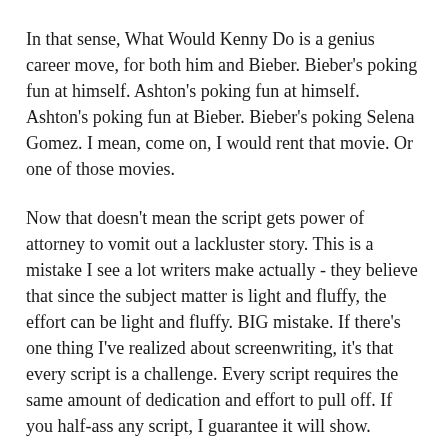In that sense, What Would Kenny Do is a genius career move, for both him and Bieber. Bieber's poking fun at himself. Ashton's poking fun at himself. Ashton's poking fun at Bieber. Bieber's poking Selena Gomez. I mean, come on, I would rent that movie. Or one of those movies.
Now that doesn't mean the script gets power of attorney to vomit out a lackluster story. This is a mistake I see a lot writers make actually - they believe that since the subject matter is light and fluffy, the effort can be light and fluffy. BIG mistake. If there's one thing I've realized about screenwriting, it's that every script is a challenge. Every script requires the same amount of dedication and effort to pull off. If you half-ass any script, I guarantee it will show.
17 year old Kenny Bellmore is devastated by the recent dumping he received by his long time girlfriend, Holly. High school is tough. You can put two long years into a relationship, slowly chipping away at that magical end goal known as losing your virginity, only to have your gf break up with you weeks before it's supposed to happen, which is